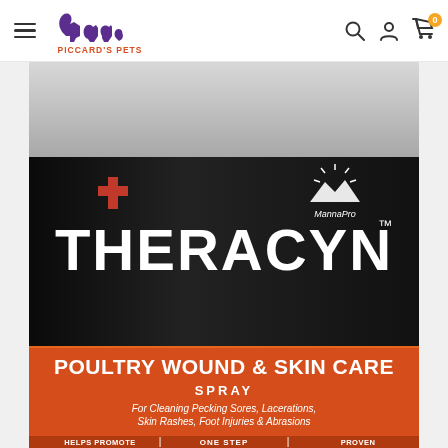Piccard's Pets — navigation header with logo, hamburger menu, search, account, and cart icons
[Figure (photo): Close-up photo of a Theracyn Poultry Wound & Skin Care Spray bottle by MannaPro. The bottle has a grey cap at top, a black label section with a red cross icon and the brand name THERACYN in large white bold letters, and an orange label section reading POULTRY WOUND & SKIN CARE SPRAY. Subtitle text: For Cleaning Pecking Sores, Lacerations, Skin Rashes, Foot Injuries & Abrasions. Bottom bar reads HELPS PROMOTE | ONE STEP | PROVEN.]